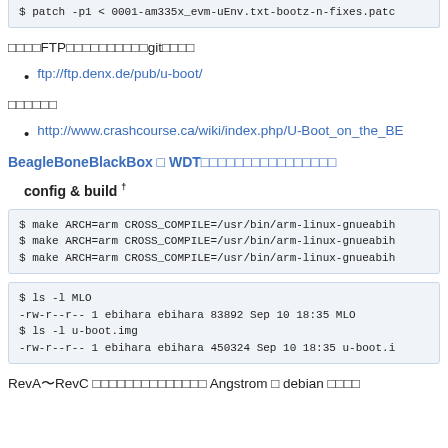$ patch -p1 < 0001-am335x_evm-uEnv.txt-bootz-n-fixes.patch
FTPからダウンロードもしくはgitから取得
ftp://ftp.denx.de/pub/u-boot/
参考情報
http://www.crashcourse.ca/wiki/index.php/U-Boot_on_the_BB
BeagleBoneBlackBox の WDTを無効化するためのパッチ
config & build †
$ make ARCH=arm CROSS_COMPILE=/usr/bin/arm-linux-gnueabih
$ make ARCH=arm CROSS_COMPILE=/usr/bin/arm-linux-gnueabih
$ make ARCH=arm CROSS_COMPILE=/usr/bin/arm-linux-gnueabih
$ ls -l MLO
-rw-r--r-- 1 ebihara ebihara 83892 Sep 10 18:35 MLO
$ ls -l u-boot.img
-rw-r--r-- 1 ebihara ebihara 450324 Sep 10 18:35 u-boot.i
RevA〜RevC はそれぞれ最新版の Angstrom と debian を使用